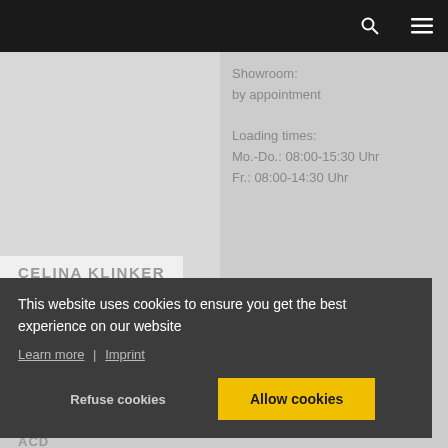Showroom:
by appointment

Loading times:
Mo.-Do.: 08:00-15:30 Uhr
Fr.: 08:00-14:30 Uhr
CELINA KLINKER
This website uses cookies to ensure you get the best experience on our website
Learn more | Imprint
Refuse cookies    Allow cookies
ACD